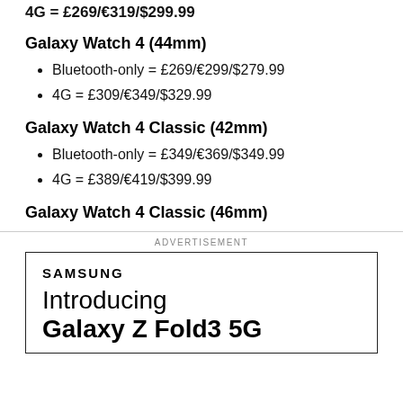4G = £269/€319/$299.99
Galaxy Watch 4 (44mm)
Bluetooth-only = £269/€299/$279.99
4G = £309/€349/$329.99
Galaxy Watch 4 Classic (42mm)
Bluetooth-only = £349/€369/$349.99
4G = £389/€419/$399.99
Galaxy Watch 4 Classic (46mm)
ADVERTISEMENT
[Figure (other): Samsung advertisement showing 'Introducing Galaxy Z Fold3 5G' with Samsung logo and text in a bordered box]